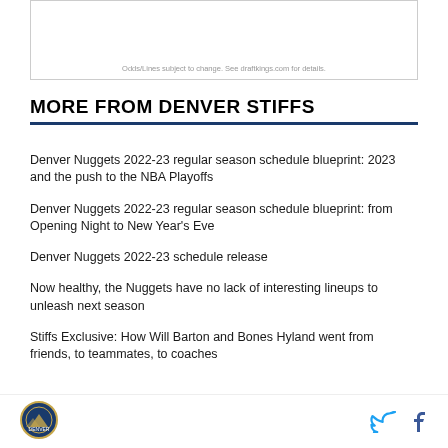[Figure (other): Advertisement box with caption: Odds/Lines subject to change. See draftkings.com for details.]
Odds/Lines subject to change. See draftkings.com for details.
MORE FROM DENVER STIFFS
Denver Nuggets 2022-23 regular season schedule blueprint: 2023 and the push to the NBA Playoffs
Denver Nuggets 2022-23 regular season schedule blueprint: from Opening Night to New Year's Eve
Denver Nuggets 2022-23 schedule release
Now healthy, the Nuggets have no lack of interesting lineups to unleash next season
Stiffs Exclusive: How Will Barton and Bones Hyland went from friends, to teammates, to coaches
[Figure (logo): Denver Nuggets / Denver Stiffs logo circular badge]
[Figure (other): Twitter bird icon and Facebook f icon in page footer]